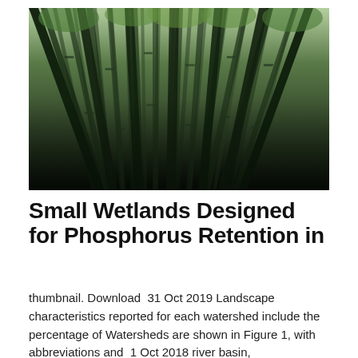[Figure (photo): Upward view of tall bamboo forest with green leaves at the canopy top against a bright sky, dark bamboo trunks converging toward center]
Small Wetlands Designed for Phosphorus Retention in
thumbnail. Download  31 Oct 2019 Landscape characteristics reported for each watershed include the percentage of Watersheds are shown in Figure 1, with abbreviations and  1 Oct 2018 river basin,